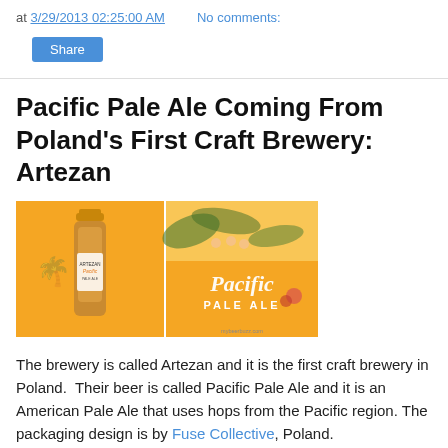at 3/29/2013 02:25:00 AM   No comments:
Share
Pacific Pale Ale Coming From Poland's First Craft Brewery: Artezan
[Figure (photo): Composite image showing a bottle of Pacific Pale Ale on an orange background (left) and a tropical advertisement for Pacific Pale Ale with palm trees and people (right). Watermark: mybeerbuzz.com]
The brewery is called Artezan and it is the first craft brewery in Poland.  Their beer is called Pacific Pale Ale and it is an American Pale Ale that uses hops from the Pacific region. The packaging design is by Fuse Collective, Poland.
[Figure (photo): Bottom portion of an orange-background image showing cans/bottles of Pacific Pale Ale arranged in a row.]